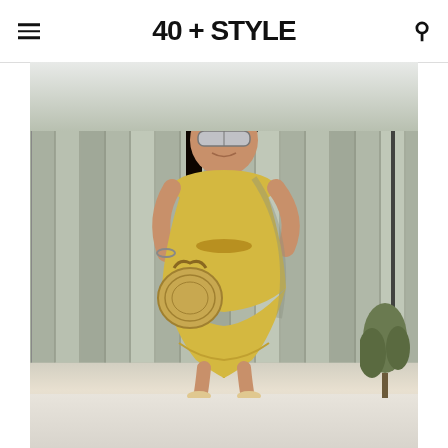40 + STYLE
[Figure (photo): A plus-size woman wearing a yellow wrap midi dress and sunglasses, carrying a round straw bag, posing in front of a grey wooden fence outdoors. The photo is taken in bright sunlight.]